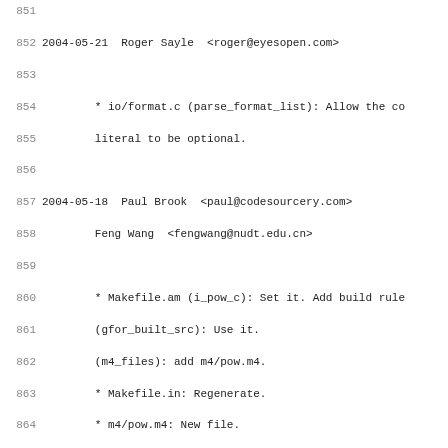Changelog / commit log lines 851-882 showing entries for Roger Sayle, Paul Brook, Feng Wang, and Tobias Schlueter dated 2004-05-18 to 2004-05-21.